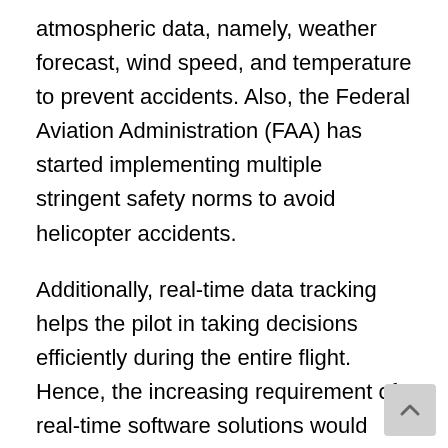atmospheric data, namely, weather forecast, wind speed, and temperature to prevent accidents. Also, the Federal Aviation Administration (FAA) has started implementing multiple stringent safety norms to avoid helicopter accidents.
Additionally, real-time data tracking helps the pilot in taking decisions efficiently during the entire flight. Hence, the increasing requirement of real-time software solutions would propel market growth in the near future. However, the COVID-19 pandemic has caused flight suspensions because of complete lockdown measures across the globe.
Competitive Landscape-